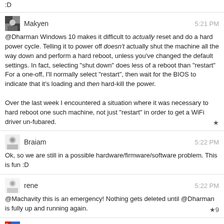:D
Makyen 5:21 PM
@Dharman Windows 10 makes it difficult to actually reset and do a hard power cycle. Telling it to power off doesn't actually shut the machine all the way down and perform a hard reboot, unless you've changed the default settings. In fact, selecting "shut down" does less of a reboot than "restart" For a one-off, I'll normally select "restart", then wait for the BIOS to indicate that it's loading and then hard-kill the power.

Over the last week I encountered a situation where it was necessary to hard reboot one such machine, not just "restart" in order to get a WiFi driver un-fubared.
Braiam 5:22 PM
Ok, so we are still in a possible hardware/firmware/software problem. This is fun :D
rene 5:22 PM
@Machavity this is an emergency! Nothing gets deleted until @Dharman is fully up and running again.
Scratte 5:22 PM
@Machavity Is that what they call a "Party pooper"? :)
Braiam 5:22 PM
@Dharman The router or your system?
Dharman 5:22 PM
ok then let me do a full reboot from the power network
@Braiam both
Machavity 5:23 PM
Did you try to disable and enable the device?